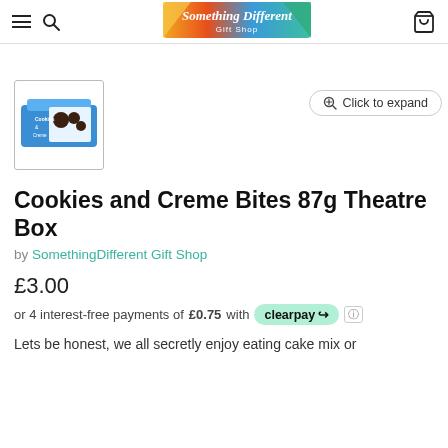Something Different Gift Shop — navigation header with menu, search, logo, and cart icons
[Figure (screenshot): Thumbnail image of Cookies and Creme Bites 87g Theatre Box product packaging — blue box with cookies on front]
Click to expand
Cookies and Creme Bites 87g Theatre Box
by SomethingDifferent Gift Shop
£3.00
or 4 interest-free payments of £0.75 with Clearpay
Lets be honest, we all secretly enjoy eating cake mix or